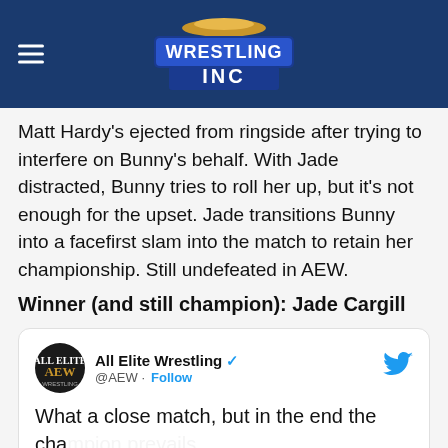Wrestling Inc
Matt Hardy's ejected from ringside after trying to interfere on Bunny's behalf. With Jade distracted, Bunny tries to roll her up, but it's not enough for the upset. Jade transitions Bunny into a facefirst slam into the match to retain her championship. Still undefeated in AEW.
Winner (and still champion): Jade Cargill
[Figure (screenshot): Embedded tweet from All Elite Wrestling (@AEW) verified account showing partial text: 'What a close match, but in the end the cha... STIL...' with a Tally ad overlay at the bottom reading 'Fast credit card payoff' with a Download Now button.]